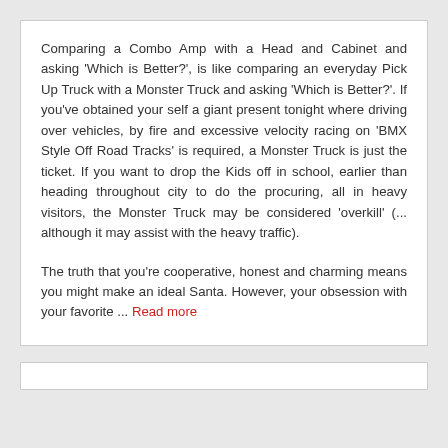Comparing a Combo Amp with a Head and Cabinet and asking 'Which is Better?', is like comparing an everyday Pick Up Truck with a Monster Truck and asking 'Which is Better?'. If you've obtained your self a giant present tonight where driving over vehicles, by fire and excessive velocity racing on 'BMX Style Off Road Tracks' is required, a Monster Truck is just the ticket. If you want to drop the Kids off in school, earlier than heading throughout city to do the procuring, all in heavy visitors, the Monster Truck may be considered 'overkill' (... although it may assist with the heavy traffic).
The truth that you're cooperative, honest and charming means you might make an ideal Santa. However, your obsession with your favorite ... Read more